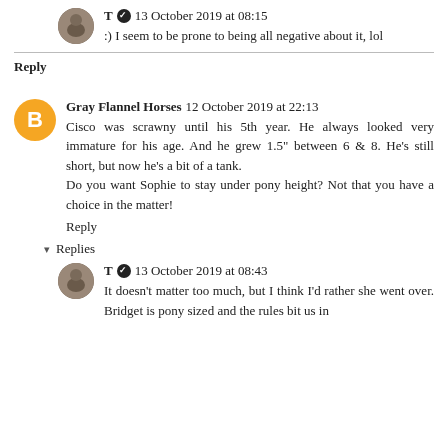T ✓ 13 October 2019 at 08:15
:) I seem to be prone to being all negative about it, lol
Reply
Gray Flannel Horses 12 October 2019 at 22:13
Cisco was scrawny until his 5th year. He always looked very immature for his age. And he grew 1.5" between 6 & 8. He's still short, but now he's a bit of a tank.
Do you want Sophie to stay under pony height? Not that you have a choice in the matter!
Reply
Replies
T ✓ 13 October 2019 at 08:43
It doesn't matter too much, but I think I'd rather she went over. Bridget is pony sized and the rules bit us in